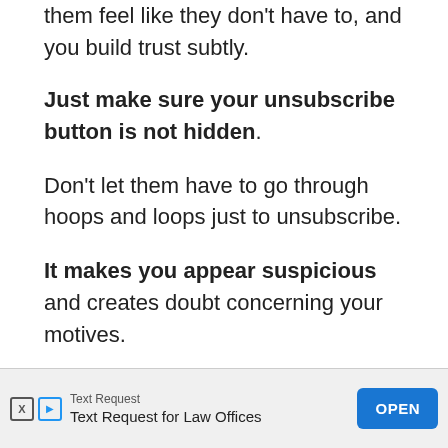them feel like they don't have to, and you build trust subtly.
Just make sure your unsubscribe button is not hidden.
Don't let them have to go through hoops and loops just to unsubscribe.
It makes you appear suspicious and creates doubt concerning your motives.
Give them all the value you can, but don't
[Figure (screenshot): Advertisement banner for Text Request for Law Offices with an OPEN button]